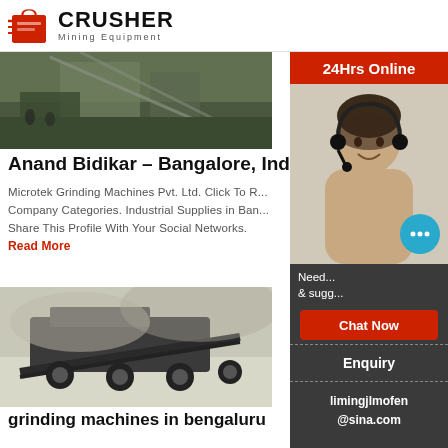[Figure (logo): Crusher Mining Equipment logo with red shopping bag icon and bold text]
[Figure (photo): Industrial mining facility with conveyor belts and large equipment structures]
Anand Bidikar – Bangalore, India
Microtek Grinding Machines Pvt. Ltd. Click To R... Company Categories. Industrial Supplies in Ban... Share This Profile With Your Social Networks.
Read More
[Figure (photo): Large mobile crusher/grinding machine in an open quarry or mining site]
grinding machines in bengaluru
Micro-Tech CNC Machine Tools Private Limited... venture of MICRO-TECH Group of Companies. I... incorporated in Bangalore, India. The main activity of the...
[Figure (illustration): Sidebar advertisement: 24Hrs Online with customer service representative, Chat Now button, Enquiry link, and limingjlmofen@sina.com email]